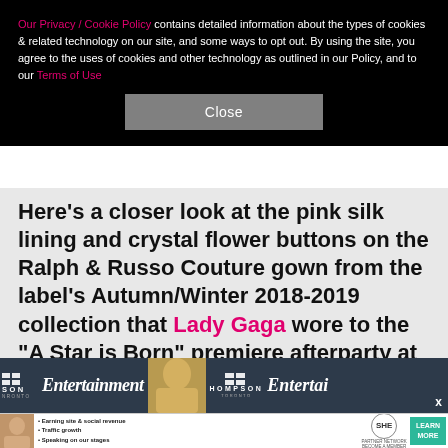Our Privacy / Cookie Policy contains detailed information about the types of cookies & related technology on our site, and some ways to opt out. By using the site, you agree to the uses of cookies and other technology as outlined in our Policy, and to our Terms of Use
Close
Here's a closer look at the pink silk lining and crystal flower buttons on the Ralph & Russo Couture gown from the label's Autumn/Winter 2018-2019 collection that Lady Gaga wore to the "A Star is Born" premiere afterparty at the Toronto International Film Festival on Sept. 9.
[Figure (photo): Photo strip showing Entertainment Weekly and Thompson Toronto hotel logos with a partial view of a blonde person, and a partial 'Entertainment' logo on the right]
[Figure (infographic): Advertisement banner for SHE Media Partner Network with bullet points: Earning site & social revenue, Traffic growth, Speaking on our stages. Includes SHE logo and LEARN MORE button in teal.]